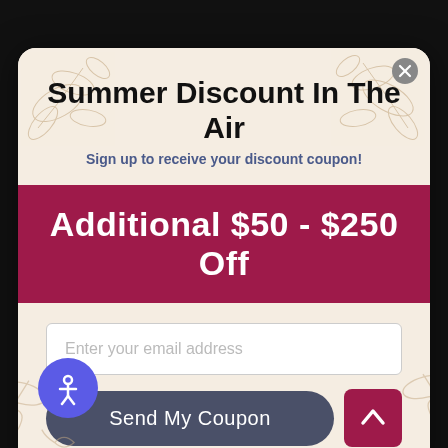[Figure (screenshot): Modal popup with dark background. Contains a summer discount coupon signup form with floral decorative background, title, discount banner, email input, and send button.]
Summer Discount In The Air
Sign up to receive your discount coupon!
Additional $50 - $250 Off
Enter your email address
Send My Coupon